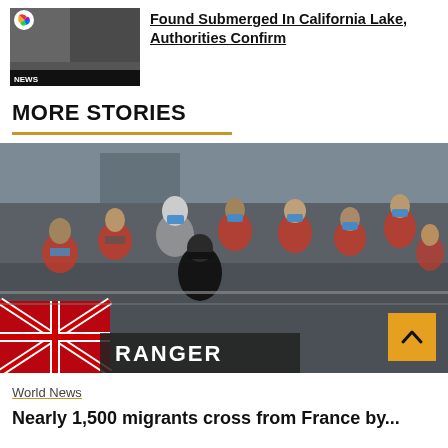[Figure (photo): NBC News thumbnail showing a news broadcast, with NBC logo and NEWS bar at bottom]
Found Submerged In California Lake, Authorities Confirm
MORE STORIES
[Figure (photo): Group of migrants wearing red life vests and blue face masks on a boat with a Union Jack flag visible and RANGER text on hull; a scroll-to-top button is visible in the bottom right corner]
World News
Nearly 1,500 migrants cross from France by...